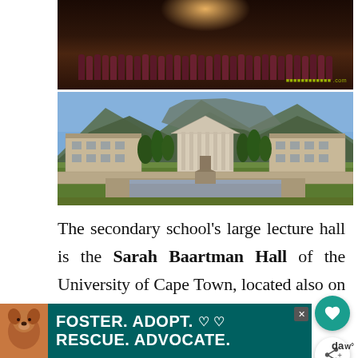[Figure (photo): Indoor graduation ceremony photo showing graduates in red academic gowns seated in a large lecture hall with stage lighting and performers/faculty on a stage in the background]
[Figure (photo): Exterior photo of University of Cape Town campus showing neoclassical main building with columns, surrounding stone buildings with terracotta roofs, trees, a water feature/pool in the foreground, and Table Mountain in the background under a blue sky]
The secondary school's large lecture hall is the Sarah Baartman Hall of the University of Cape Town, located also on the same campus.
[Figure (other): Advertisement banner: FOSTER. ADOPT. RESCUE. ADVOCATE. with a dog photo, teal background, heart symbols, and close button]